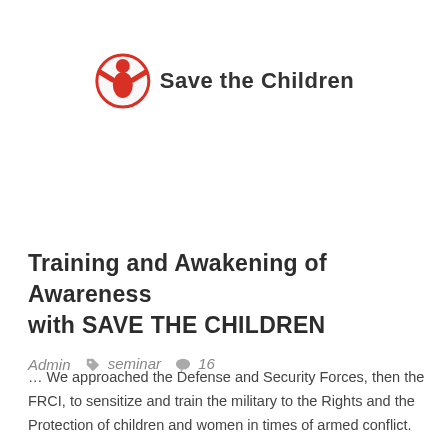[Figure (logo): Save the Children logo: red circular figure with arms raised inside a circle, next to bold text 'Save the Children']
Training and Awakening of Awareness with SAVE THE CHILDREN
Admin   seminar   16
… We approached the Defense and Security Forces, then the FRCI, to sensitize and train the military to the Rights and the Protection of children and women in times of armed conflict.